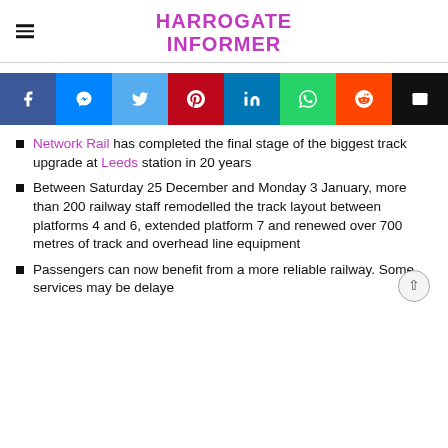HARROGATE INFORMER
[Figure (infographic): Social sharing buttons row: Facebook (blue), Messenger (blue), Twitter (light blue), Pinterest (red), LinkedIn (dark blue), WhatsApp (green), Reddit (orange), Email (black)]
Network Rail has completed the final stage of the biggest track upgrade at Leeds station in 20 years
Between Saturday 25 December and Monday 3 January, more than 200 railway staff remodelled the track layout between platforms 4 and 6, extended platform 7 and renewed over 700 metres of track and overhead line equipment
Passengers can now benefit from a more reliable railway. Some services may be delayed or cancelled due to availability of staff…